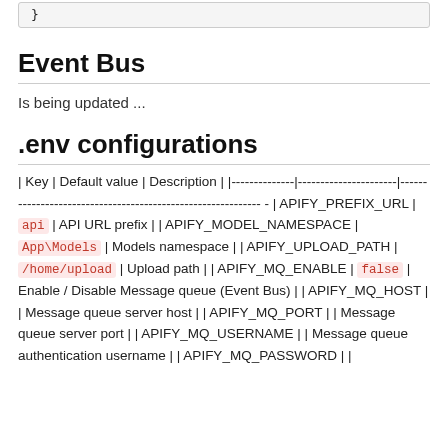}
Event Bus
Is being updated ...
.env configurations
| Key | Default value | Description |
| --- | --- | --- |
| APIFY_PREFIX_URL | api | API URL prefix |
| APIFY_MODEL_NAMESPACE | App\Models | Models namespace |
| APIFY_UPLOAD_PATH | /home/upload | Upload path |
| APIFY_MQ_ENABLE | false | Enable / Disable Message queue (Event Bus) |
| APIFY_MQ_HOST |  | Message queue server host |
| APIFY_MQ_PORT |  | Message queue server port |
| APIFY_MQ_USERNAME |  | Message queue authentication username |
| APIFY_MQ_PASSWORD |  |  |